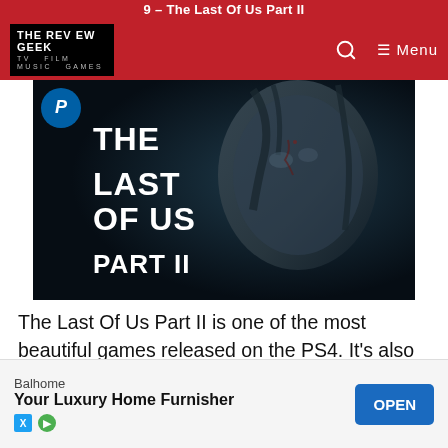9 – The Last Of Us Part II
THE REVIEW GEEK — TV FILM MUSIC GAMES — Menu
[Figure (photo): The Last Of Us Part II game cover art showing a woman's face with blood and dirt, with bold white text reading 'THE LAST OF US PART II' on a dark background. PlayStation logo visible in top left.]
The Last Of Us Part II is one of the most beautiful games released on the PS4. It's also one of the messiest and divisive too. It's a game that does a lot right but big flaws with its narrative structure ultimately hold this back from reaching higher up our list. The layered tale of revenge and violence loses its fluidity and u… enjoys…
[Figure (other): Advertisement banner: Balhome – Your Luxury Home Furnisher with OPEN button]